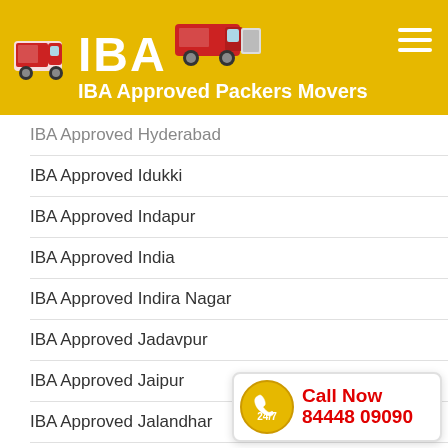[Figure (logo): IBA Approved Packers Movers logo with yellow background, two red trucks, and white bold text 'IBA' with subtitle 'IBA Approved Packers Movers']
IBA Approved Hyderabad
IBA Approved Idukki
IBA Approved Indapur
IBA Approved India
IBA Approved Indira Nagar
IBA Approved Jadavpur
IBA Approved Jaipur
IBA Approved Jalandhar
IBA Approved Jalgaon
IBA Approved Jalna
IBA Approved Jalpaiguri
[Figure (infographic): Call Now widget with yellow circle showing 24/7 phone icon, red bold text 'Call Now' and phone number '84448 09090']